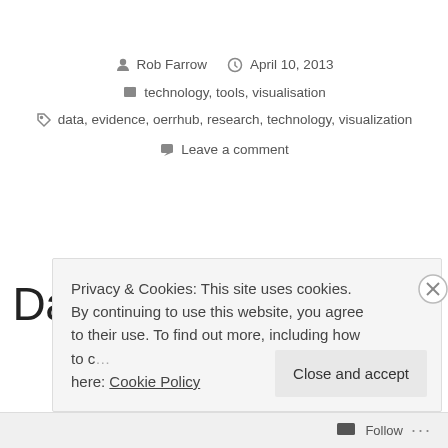Rob Farrow   April 10, 2013
technology, tools, visualisation
data, evidence, oerrhub, research, technology, visualization
Leave a comment
Data Visualization for
Privacy & Cookies: This site uses cookies. By continuing to use this website, you agree to their use. To find out more, including how to control cookies, see here: Cookie Policy
Close and accept
Follow